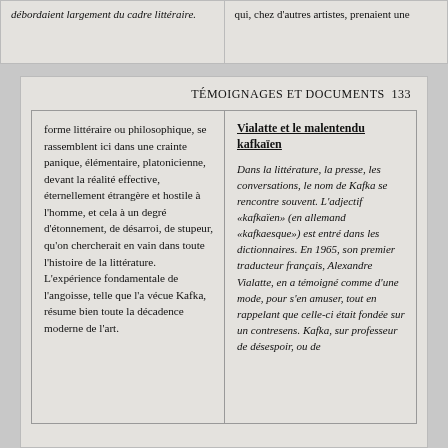débordaient largement du cadre littéraire.
qui, chez d'autres artistes, prenaient une
TÉMOIGNAGES ET DOCUMENTS  133
forme littéraire ou philosophique, se rassemblent ici dans une crainte panique, élémentaire, platonicienne, devant la réalité effective, éternellement étrangère et hostile à l'homme, et cela à un degré d'étonnement, de désarroi, de stupeur, qu'on chercherait en vain dans toute l'histoire de la littérature. L'expérience fondamentale de l'angoisse, telle que l'a vécue Kafka, résume bien toute la décadence moderne de l'art.
Vialatte et le malentendu kafkaïen
Dans la littérature, la presse, les conversations, le nom de Kafka se rencontre souvent. L'adjectif «kafkaïen» (en allemand «kafkaesque») est entré dans les dictionnaires. En 1965, son premier traducteur français, Alexandre Vialatte, en a témoigné comme d'une mode, pour s'en amuser, tout en rappelant que celle-ci était fondée sur un contresens. Kafka, sur professeur de désespoir, ou de